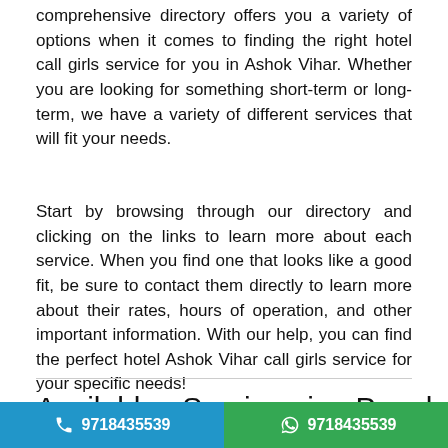comprehensive directory offers you a variety of options when it comes to finding the right hotel call girls service for you in Ashok Vihar. Whether you are looking for something short-term or long-term, we have a variety of different services that will fit your needs.
Start by browsing through our directory and clicking on the links to learn more about each service. When you find one that looks like a good fit, be sure to contact them directly to learn more about their rates, hours of operation, and other important information. With our help, you can find the perfect hotel Ashok Vihar call girls service for your specific needs!
Available Service in Popular Cities